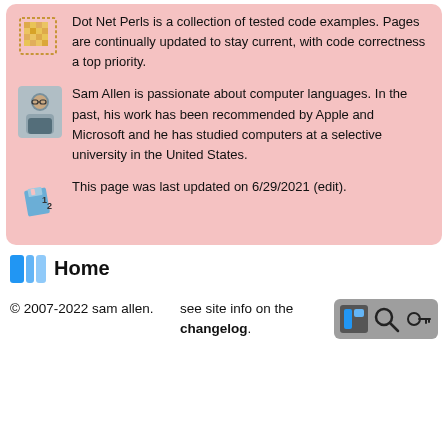Dot Net Perls is a collection of tested code examples. Pages are continually updated to stay current, with code correctness a top priority.
Sam Allen is passionate about computer languages. In the past, his work has been recommended by Apple and Microsoft and he has studied computers at a selective university in the United States.
This page was last updated on 6/29/2021 (edit).
Home
© 2007-2022 sam allen.
see site info on the changelog.